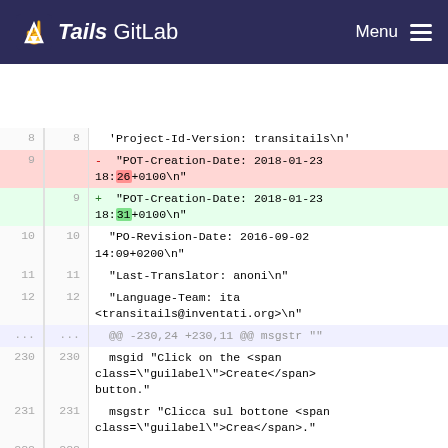Tails GitLab   Menu
| old ln | new ln | diff content |
| --- | --- | --- |
| 8 | 8 |   'Project-Id-Version: transitails\n' |
| 9 |  | - "POT-Creation-Date: 2018-01-23 18:26+0100\n" |
|  | 9 | + "POT-Creation-Date: 2018-01-23 18:31+0100\n" |
| 10 | 10 |   "PO-Revision-Date: 2016-09-02 14:09+0200\n" |
| 11 | 11 |   "Last-Translator: anoni\n" |
| 12 | 12 |   "Language-Team: ita <transitails@inventati.org>\n" |
| ... | ... | @@ -230,24 +230,11 @@ msgstr "" |
| 230 | 230 |   msgid "Click on the <span class=\"guilabel\">Create</span> button." |
| 231 | 231 |   msgstr "Clicca sul bottone <span class=\"guilabel\">Crea</span>." |
| 232 | 232 |  |
| 233 |  | - #. type: Bullet: '3. ' |
|  | 233 | + #. type: Bullet: '2. ' |
| 234 | 234 |   msgid "Wait for the creation to |